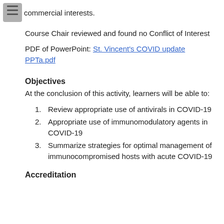commercial interests.
Course Chair reviewed and found no Conflict of Interest
PDF of PowerPoint: St. Vincent's COVID update PPTa.pdf
Objectives
At the conclusion of this activity, learners will be able to:
Review appropriate use of antivirals in COVID-19
Appropriate use of immunomodulatory agents in COVID-19
Summarize strategies for optimal management of immunocompromised hosts with acute COVID-19
Accreditation